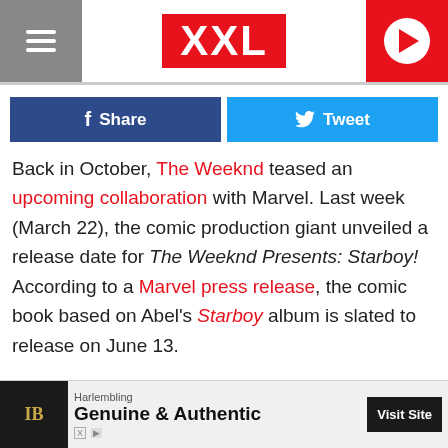XXL
Share  Tweet
Back in October, The Weeknd teased an upcoming collaboration with Marvel. Last week (March 22), the comic production giant unveiled a release date for The Weeknd Presents: Starboy! According to a Marvel press release, the comic book based on Abel's Starboy album is slated to release on June 13.
The Weeknd co-wrote the book with the Marvel team, and detailed what it means to be working on such a special project. "Marvel is the pinnacle of success in their field and I've been a lifelong fan of their work," he says. "To be able to
[Figure (screenshot): Advertisement banner: Harlembling - Genuine & Authentic, with Visit Site button]